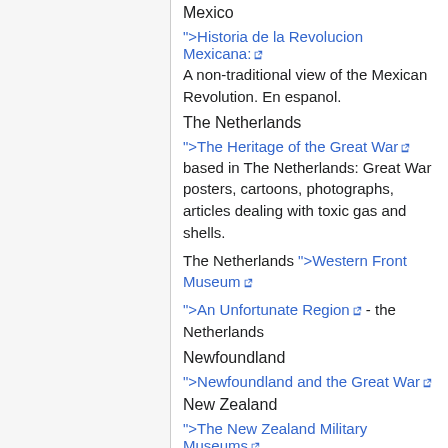Mexico
">Historia de la Revolucion Mexicana:
A non-traditional view of the Mexican Revolution. En espanol.
The Netherlands
">The Heritage of the Great War
based in The Netherlands: Great War posters, cartoons, photographs, articles dealing with toxic gas and shells.
The Netherlands ">Western Front Museum
">An Unfortunate Region - the Netherlands
Newfoundland
">Newfoundland and the Great War
New Zealand
">The New Zealand Military Museums